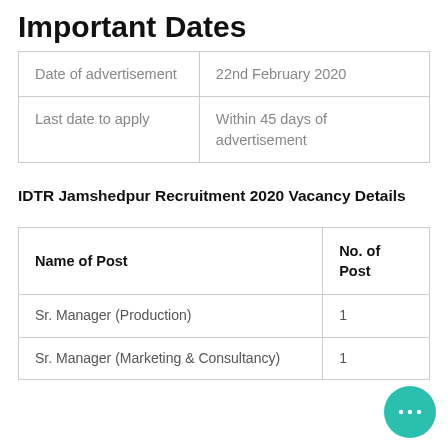Important Dates
|  |  |
| --- | --- |
| Date of advertisement | 22nd February 2020 |
| Last date to apply | Within 45 days of advertisement |
IDTR Jamshedpur Recruitment 2020 Vacancy Details
| Name of Post | No. of Post |
| --- | --- |
| Sr. Manager (Production) | 1 |
| Sr. Manager (Marketing & Consultancy) | 1 |